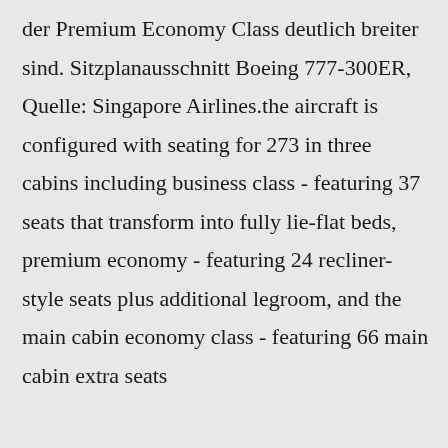der Premium Economy Class deutlich breiter sind. Sitzplanausschnitt Boeing 777-300ER, Quelle: Singapore Airlines.the aircraft is configured with seating for 273 in three cabins including business class - featuring 37 seats that transform into fully lie-flat beds, premium economy - featuring 24 recliner-style seats plus additional legroom, and the main cabin economy class - featuring 66 main cabin extra seats